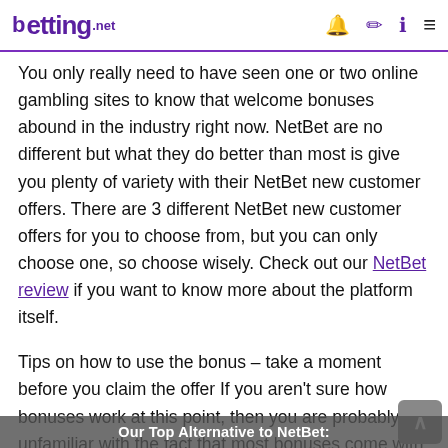betting.net
You only really need to have seen one or two online gambling sites to know that welcome bonuses abound in the industry right now. NetBet are no different but what they do better than most is give you plenty of variety with their NetBet new customer offers. There are 3 different NetBet new customer offers for you to choose from, but you can only choose one, so choose wisely. Check out our NetBet review if you want to know more about the platform itself.
Tips on how to use the bonus – take a moment before you claim the offer If you aren't sure how bonuses work at this point, then you are probably still unfamiliar with the fact that most bonuses come with terms and conditions. Luckily, the terms and conditions attached
Our Top Alternative to NetBet: